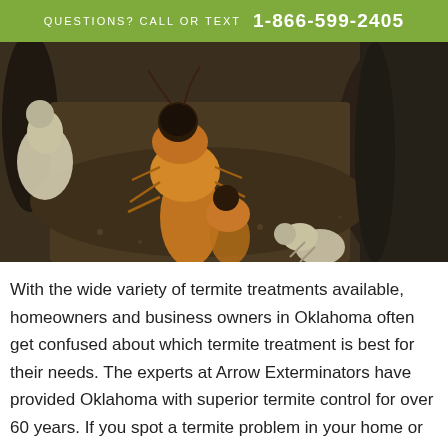QUESTIONS? CALL OR TEXT  1-866-599-2405
[Figure (photo): Close-up macro photograph of multiple termites on dark wood or soil, showing orange/amber colored soldier termites with dark heads and pale worker termites.]
With the wide variety of termite treatments available, homeowners and business owners in Oklahoma often get confused about which termite treatment is best for their needs. The experts at Arrow Exterminators have provided Oklahoma with superior termite control for over 60 years. If you spot a termite problem in your home or business, or just want to be proactive in keeping them from infesting, here are the treatments our